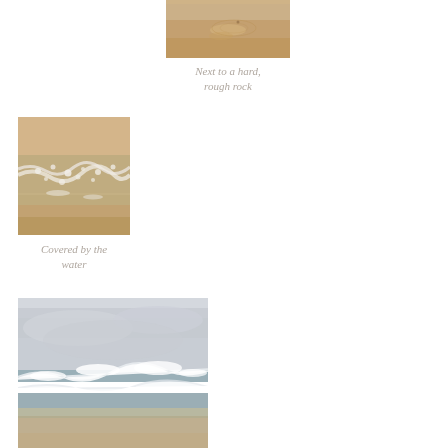[Figure (photo): Close-up of wet sandy beach with faint circular marks in the sand, tan/beige color]
Next to a hard, rough rock
[Figure (photo): Beach sand covered by foamy ocean water wash, showing white foam bubbles on tan sand]
Covered by the water
[Figure (photo): Wide ocean scene with crashing waves, overcast grey sky, beach in foreground]